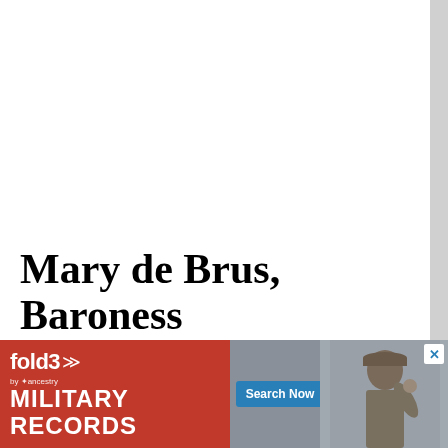Mary de Brus, Baroness
[Figure (other): Advertisement for Fold3 Military Records by Ancestry, featuring a red background with 'fold3' logo and chevron marks, 'MILITARY RECORDS' text in white, a 'Search Now' blue button, a photo of a soldier, and a gray background. Close button with X in top right corner.]